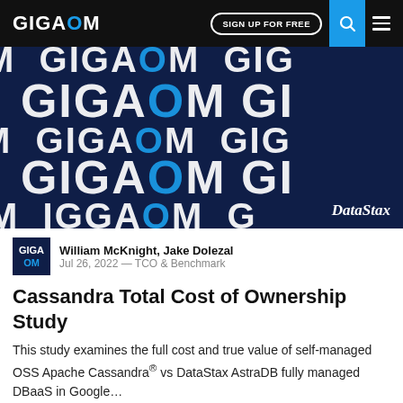GIGAOM | SIGN UP FOR FREE
[Figure (illustration): Dark navy blue background with repeated GIGAOM text in white and blue, with DataStax label in bottom right corner]
William McKnight, Jake Dolezal
Jul 26, 2022 — TCO & Benchmark
Cassandra Total Cost of Ownership Study
This study examines the full cost and true value of self-managed OSS Apache Cassandra® vs DataStax AstraDB fully managed DBaaS in Google...